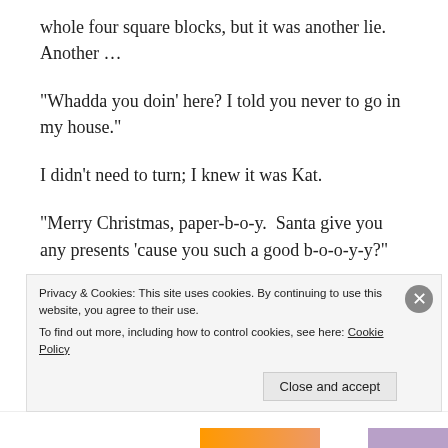whole four square blocks, but it was another lie. Another …
“Whadda you doin’ here? I told you never to go in my house.”
I didn’t need to turn; I knew it was Kat.
“Merry Christmas, paper-b-o-y.  Santa give you any presents ‘cause you such a good b-o-o-y-y?”
Ollie.  I whirled to see him and Kat, each holding up
Privacy & Cookies: This site uses cookies. By continuing to use this website, you agree to their use.
To find out more, including how to control cookies, see here: Cookie Policy
Close and accept